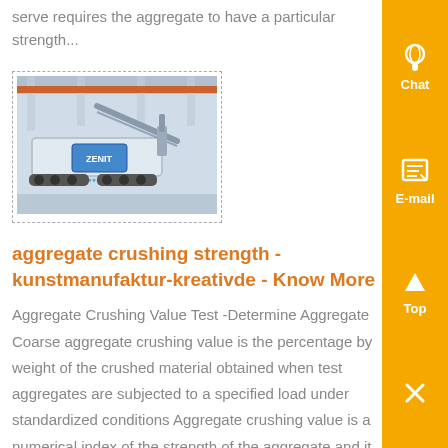serve requires the aggregate to have a particular strength...
[Figure (photo): Industrial aggregate crushing machine in a factory setting, with tracks and mechanical arms.]
aggregate crushing strength - kunstmanufaktur-kreativde - Know More
Aggregate Crushing Value Test -Determine Aggregate Coarse aggregate crushing value is the percentage by weight of the crushed material obtained when test aggregates are subjected to a specified load under standardized conditions Aggregate crushing value is a numerical index of the strength of the aggregate and it get price...